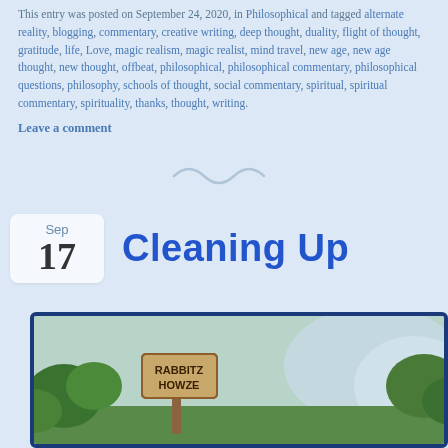This entry was posted on September 24, 2020, in Philosophical and tagged alternate reality, blogging, commentary, creative writing, deep thought, duality, flight of thought, gratitude, life, Love, magic realism, magic realist, mind travel, new age, new age thought, new thought, offbeat, philosophical, philosophical commentary, philosophical questions, philosophy, schools of thought, social commentary, spiritual, spiritual commentary, spirituality, thanks, thought, writing.
Leave a comment
[Figure (illustration): Decorative squiggle/tilde divider in light blue-gray]
Sep 17
Cleaning Up
[Figure (illustration): Illustration with dark blue border showing a forest scene with a wooden sign reading 'RABBITZ HOWZE']